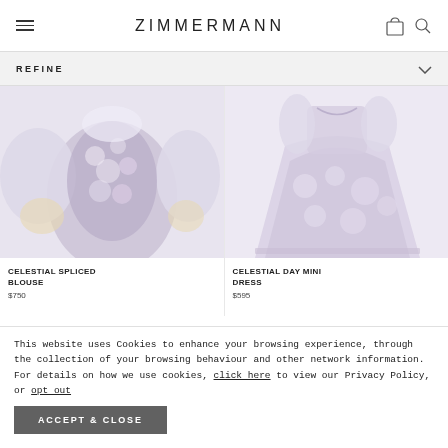ZIMMERMANN
REFINE
[Figure (photo): Celestial Spliced Blouse – floral print blouse with puffed sheer sleeves in purple/grey tones]
CELESTIAL SPLICED BLOUSE
$750
[Figure (photo): Celestial Day Mini Dress – floral print mini dress in purple/lavender tones, full skirt]
CELESTIAL DAY MINI DRESS
$595
This website uses Cookies to enhance your browsing experience, through the collection of your browsing behaviour and other network information. For details on how we use cookies, click here to view our Privacy Policy, or opt out
ACCEPT & CLOSE